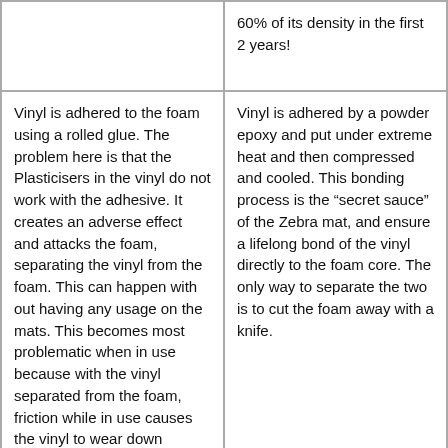|  | 60% of its density in the first 2 years! |
| Vinyl is adhered to the foam using a rolled glue. The problem here is that the Plasticisers in the vinyl do not work with the adhesive. It creates an adverse effect and attacks the foam, separating the vinyl from the foam. This can happen with out having any usage on the mats. This becomes most problematic when in use because with the vinyl separated from the foam, friction while in use causes the vinyl to wear down considerably, to the point where you burn holes in areas of the vinyl and the foam shows through. | Vinyl is adhered by a powder epoxy and put under extreme heat and then compressed and cooled. This bonding process is the “secret sauce” of the Zebra mat, and ensure a lifelong bond of the vinyl directly to the foam core. The only way to separate the two is to cut the foam away with a knife. |
|  |  |